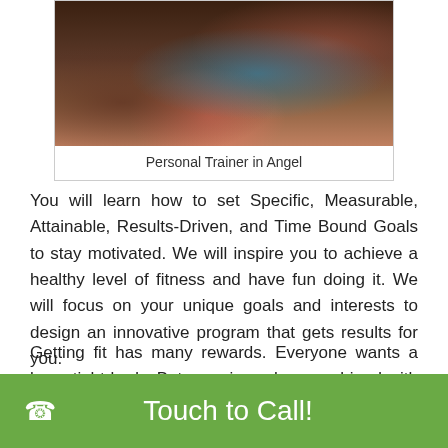[Figure (photo): People working out in a gym, with someone doing squats and a trainer assisting]
Personal Trainer in Angel
You will learn how to set Specific, Measurable, Attainable, Results-Driven, and Time Bound Goals to stay motivated. We will inspire you to achieve a healthy level of fitness and have fun doing it. We will focus on your unique goals and interests to design an innovative program that gets results for you.
Getting fit has many rewards. Everyone wants a lean, tight body. But exercise, when combined with good nutrition, also results in disease prevention, stress reduction, and a healthy lifestyle. Exercise can also provide emotional benefits like a
Touch to Call!